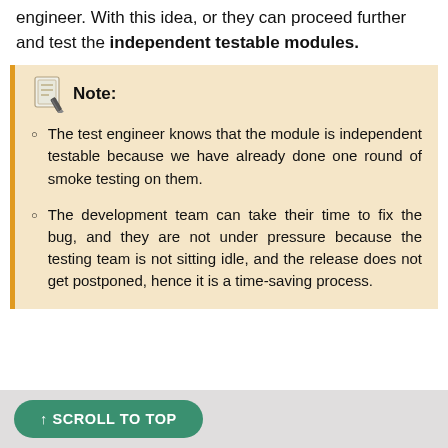engineer. With this idea, or they can proceed further and test the independent testable modules.
The test engineer knows that the module is independent testable because we have already done one round of smoke testing on them.
The development team can take their time to fix the bug, and they are not under pressure because the testing team is not sitting idle, and the release does not get postponed, hence it is a time-saving process.